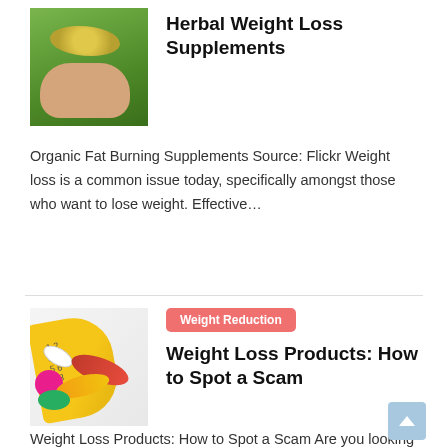[Figure (photo): Hand holding yellow seeds/grains with green background]
Herbal Weight Loss Supplements
Organic Fat Burning Supplements Source: Flickr Weight loss is a common issue today, specifically amongst those who want to lose weight. Effective…
[Figure (photo): Colorful pills and capsules with yellow measuring tape on white background]
Weight Reduction
Weight Loss Products: How to Spot a Scam
Weight Loss Products: How to Spot a Scam Are you looking to lose weight? If you are, there is a good chance that you will start your……